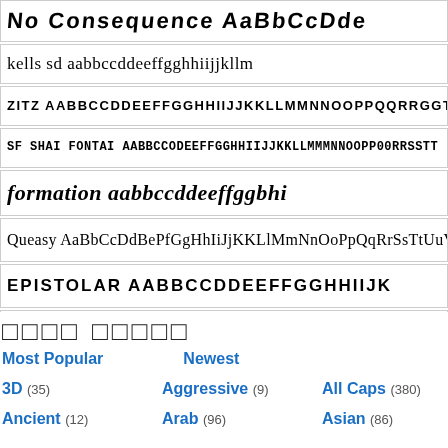[Figure (screenshot): Font showcase rows displaying various decorative and display fonts with sample text showing alphabet characters. Rows include: No Consequence font, Kells SD font, Zitz font, SF Shai Fontai font, Formation font (italic bold), Queasy font, Epistolar font, Unzialish font, Drageletail font.]
□□□□ □□□□□
Most Popular    Newest
3D (35)    Aggressive (9)    All Caps (380)
Ancient (12)    Arab (96)    Asian (86)